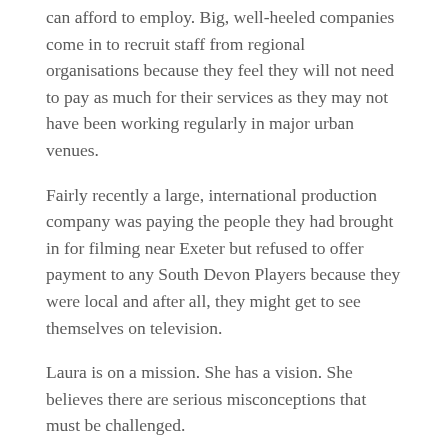can afford to employ. Big, well-heeled companies come in to recruit staff from regional organisations because they feel they will not need to pay as much for their services as they may not have been working regularly in major urban venues.
Fairly recently a large, international production company was paying the people they had brought in for filming near Exeter but refused to offer payment to any South Devon Players because they were local and after all, they might get to see themselves on television.
Laura is on a mission. She has a vision. She believes there are serious misconceptions that must be challenged.
She said: “Regional theatre is a hotbed of amazing, talent, skills, innovation, and venues. These resources should be tapped and developed. They should be